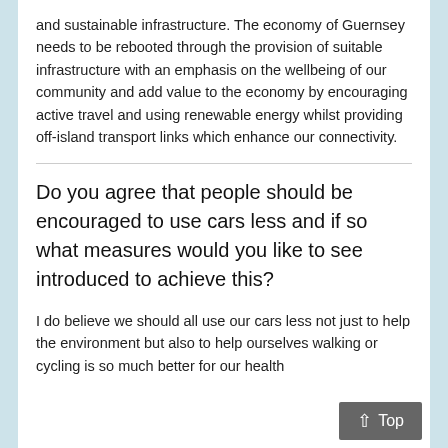and sustainable infrastructure. The economy of Guernsey needs to be rebooted through the provision of suitable infrastructure with an emphasis on the wellbeing of our community and add value to the economy by encouraging active travel and using renewable energy whilst providing off-island transport links which enhance our connectivity.
Do you agree that people should be encouraged to use cars less and if so what measures would you like to see introduced to achieve this?
I do believe we should all use our cars less not just to help the environment but also to help ourselves walking or cycling is so much better for our health